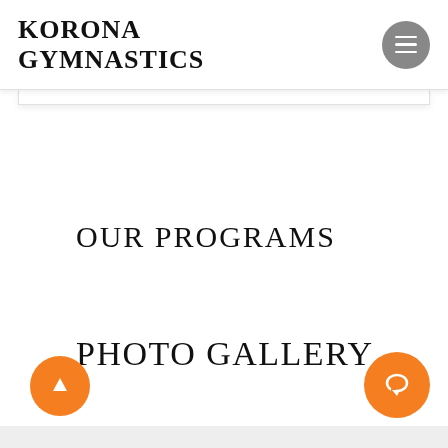KORONA GYMNASTICS
OUR PROGRAMS
PHOTO GALLERY